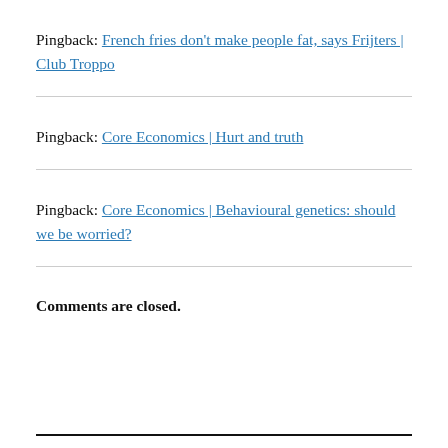Pingback: French fries don't make people fat, says Frijters | Club Troppo
Pingback: Core Economics | Hurt and truth
Pingback: Core Economics | Behavioural genetics: should we be worried?
Comments are closed.